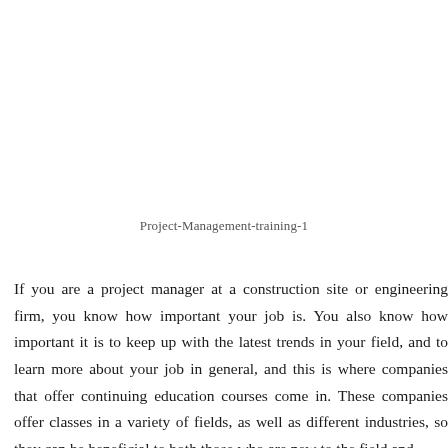Project-Management-training-1
If you are a project manager at a construction site or engineering firm, you know how important your job is. You also know how important it is to keep up with the latest trends in your field, and to learn more about your job in general, and this is where companies that offer continuing education courses come in. These companies offer classes in a variety of fields, as well as different industries, so they can be beneficial to both those who are new to the field and